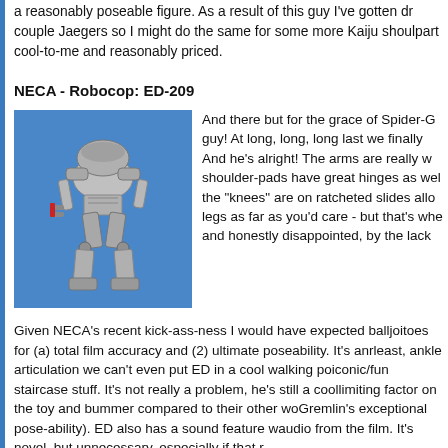a reasonably poseable figure. As a result of this guy I've gotten dr... couple Jaegers so I might do the same for some more Kaiju shoul... part cool-to-me and reasonably priced.
NECA - Robocop: ED-209
[Figure (photo): Photo of the NECA ED-209 action figure from Robocop, a silver robotic walker on a blue background]
And there but for the grace of Spider-G... guy! At long, long, long last we finally... And he's alright! The arms are really w... shoulder-pads have great hinges as wel... the "knees" are on ratcheted slides allo... legs as far as you'd care - but that's whe... and honestly disappointed, by the lack
Given NECA's recent kick-ass-ness I would have expected balljoi... toes for (a) total film accuracy and (2) ultimate poseability. It's anr... least, ankle articulation we can't even put ED in a cool walking po... iconic/fun staircase stuff. It's not really a problem, he's still a cool... limiting factor on the toy and bummer compared to their other wo... Gremlin's exceptional pose-ability). ED also has a sound feature w... audio from the film. It's novel, but unnecessary, especially if that r...